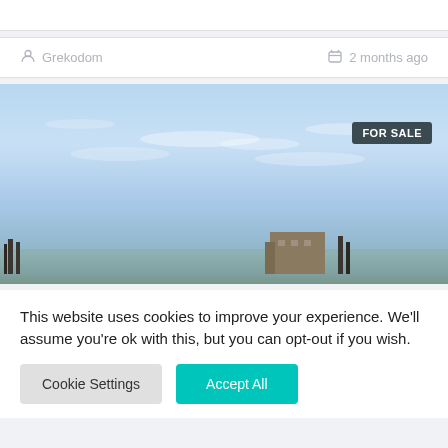Grekodom   2 months ago
[Figure (photo): Outdoor real estate photo showing a light blue sky with scattered clouds and a building silhouette at the bottom, labeled FOR SALE]
This website uses cookies to improve your experience. We'll assume you're ok with this, but you can opt-out if you wish.
Cookie Settings   Accept All